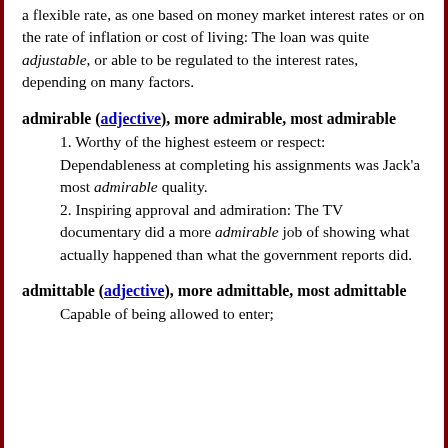a flexible rate, as one based on money market interest rates or on the rate of inflation or cost of living: The loan was quite adjustable, or able to be regulated to the interest rates, depending on many factors.
admirable (adjective), more admirable, most admirable
1. Worthy of the highest esteem or respect: Dependableness at completing his assignments was Jack'a most admirable quality.
2. Inspiring approval and admiration: The TV documentary did a more admirable job of showing what actually happened than what the government reports did.
admittable (adjective), more admittable, most admittable
Capable of being allowed to enter; admissible. The ambassador had...